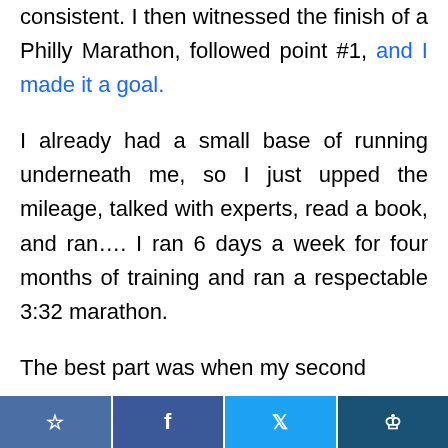consistent. I then witnessed the finish of a Philly Marathon, followed point #1, and I made it a goal.
I already had a small base of running underneath me, so I just upped the mileage, talked with experts, read a book, and ran…. I ran 6 days a week for four months of training and ran a respectable 3:32 marathon.
The best part was when my second
[social share buttons: bookmark, Facebook, Twitter, crown/save]